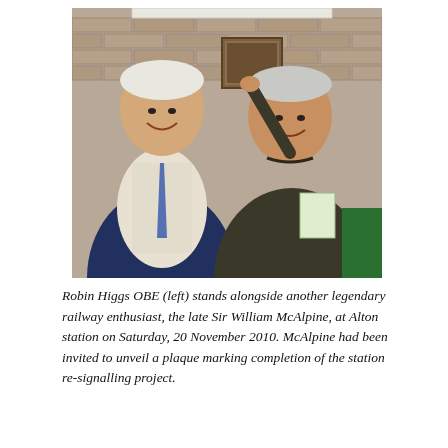[Figure (photo): Two elderly men standing side by side in front of a brick wall, smiling. The man on the left wears a blue checked shirt, striped tie, and dark jacket. The man on the right wears a dark green/brown coat and holds a bag. A framed picture or plaque is visible on the brick wall behind them.]
Robin Higgs OBE (left) stands alongside another legendary railway enthusiast, the late Sir William McAlpine, at Alton station on Saturday, 20 November 2010. McAlpine had been invited to unveil a plaque marking completion of the station re-signalling project.